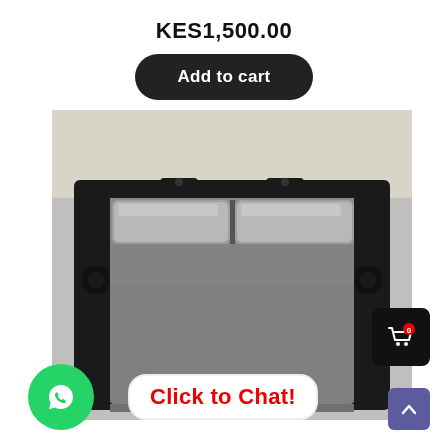KES1,500.00
Add to cart
[Figure (photo): Laptop trackpad/touchpad component with two silver mouse buttons at top, grey touch surface, mounted in a black metal bracket frame, photographed on a light background.]
Click to Chat!